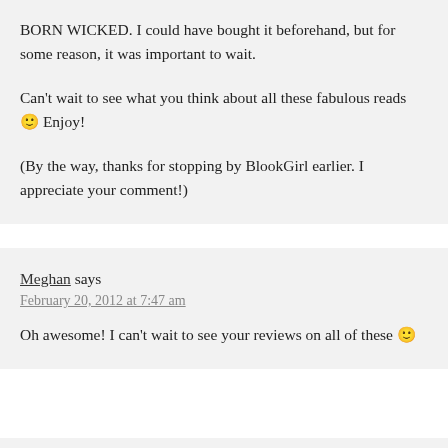BORN WICKED. I could have bought it beforehand, but for some reason, it was important to wait.

Can't wait to see what you think about all these fabulous reads 🙂 Enjoy!

(By the way, thanks for stopping by BlookGirl earlier. I appreciate your comment!)
Meghan says
February 20, 2012 at 7:47 am

Oh awesome! I can't wait to see your reviews on all of these 🙂